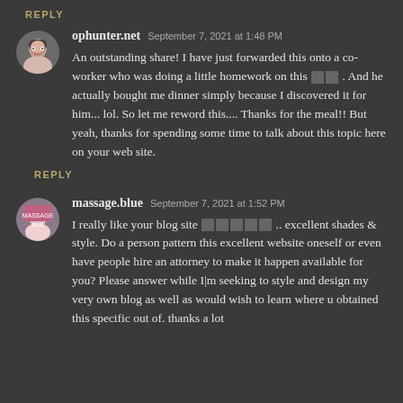REPLY
ophunter.net  September 7, 2021 at 1:48 PM
An outstanding share! I have just forwarded this onto a co-worker who was doing a little homework on this 🔲🔲 . And he actually bought me dinner simply because I discovered it for him... lol. So let me reword this.... Thanks for the meal!! But yeah, thanks for spending some time to talk about this topic here on your web site.
REPLY
massage.blue  September 7, 2021 at 1:52 PM
I really like your blog site 🔲🔲🔲🔲🔲 .. excellent shades & style. Do a person pattern this excellent website oneself or even have people hire an attorney to make it happen available for you? Please answer while I|m seeking to style and design my very own blog as well as would wish to learn where u obtained this specific out of. thanks a lot